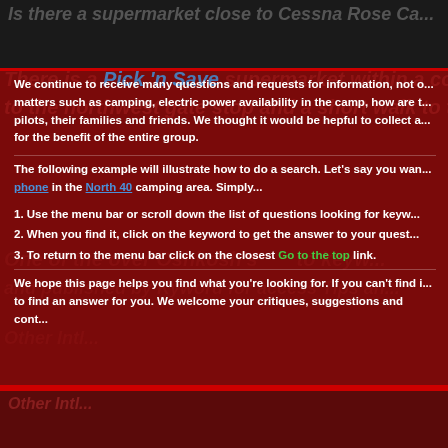Is there a supermarket close to Cessna Rose Ca...
There is a Pick 'n Save supermarket within a co... to the northwest gate stop and a short walk to th...
We continue to receive many questions and requests for information, not o... matters such as camping, electric power availability in the camp, how are t... pilots, their families and friends. We thought it would be helpful to collect a... for the benefit of the entire group.
The following example will illustrate how to do a search. Let's say you wan... phone in the North 40 camping area. Simply...
1. Use the menu bar or scroll down the list of questions looking for keyw...
2. When you find it, click on the keyword to get the answer to your quest...
3. To return to the menu bar click on the closest Go to the top link.
We hope this page helps you find what you're looking for. If you can't find i... to find an answer for you. We welcome your critiques, suggestions and cont...